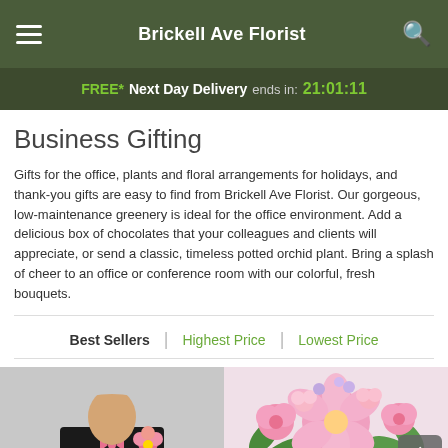Brickell Ave Florist
FREE* Next Day Delivery ends in: 21:01:11
Business Gifting
Gifts for the office, plants and floral arrangements for holidays, and thank-you gifts are easy to find from Brickell Ave Florist. Our gorgeous, low-maintenance greenery is ideal for the office environment. Add a delicious box of chocolates that your colleagues and clients will appreciate, or send a classic, timeless potted orchid plant. Bring a splash of cheer to an office or conference room with our colorful, fresh bouquets.
Best Sellers | Highest Price | Lowest Price
[Figure (photo): Circular cropped photo showing a person in a tuxedo holding a pink flower]
[Figure (photo): Photo of a pink floral arrangement with lilies and roses]